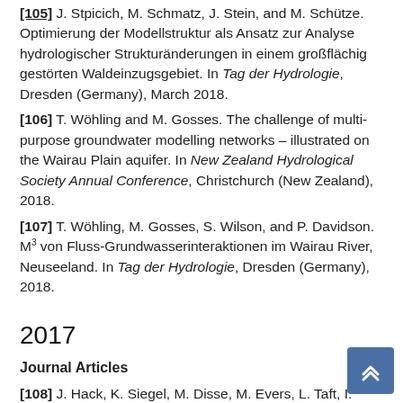[105] J. Stpicich, M. Schmatz, J. Stein, and M. Schütze. Optimierung der Modellstruktur als Ansatz zur Analyse hydrologischer Strukturänderungen in einem großflächig gestörten Waldeinzugsgebiet. In Tag der Hydrologie, Dresden (Germany), March 2018.
[106] T. Wöhling and M. Gosses. The challenge of multi-purpose groundwater modelling networks – illustrated on the Wairau Plain aquifer. In New Zealand Hydrological Society Annual Conference, Christchurch (New Zealand), 2018.
[107] T. Wöhling, M. Gosses, S. Wilson, and P. Davidson. M³ von Fluss-Grundwasserinteraktionen im Wairau River, Neuseeland. In Tag der Hydrologie, Dresden (Germany), 2018.
2017
Journal Articles
[108] J. Hack, K. Siegel, M. Disse, M. Evers, L. Taft, I. Heinz, A. Schulte, C. Reinhardt-Imjela, J. Krois, S. Breuer, L.and Multsch, and N. Schutze. Current Research Questions